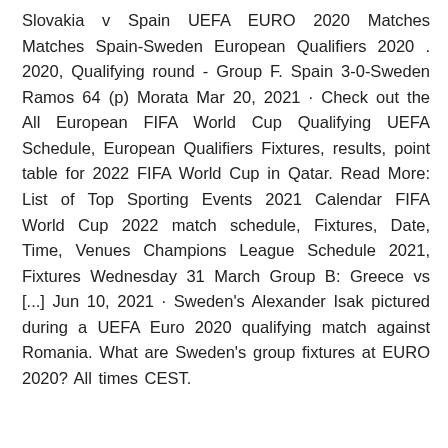Slovakia v Spain UEFA EURO 2020 Matches Matches Spain-Sweden European Qualifiers 2020 . 2020, Qualifying round - Group F. Spain 3-0-Sweden Ramos 64 (p) Morata Mar 20, 2021 · Check out the All European FIFA World Cup Qualifying UEFA Schedule, European Qualifiers Fixtures, results, point table for 2022 FIFA World Cup in Qatar. Read More: List of Top Sporting Events 2021 Calendar FIFA World Cup 2022 match schedule, Fixtures, Date, Time, Venues Champions League Schedule 2021, Fixtures Wednesday 31 March Group B: Greece vs [...] Jun 10, 2021 · Sweden's Alexander Isak pictured during a UEFA Euro 2020 qualifying match against Romania. What are Sweden's group fixtures at EURO 2020? All times CEST.